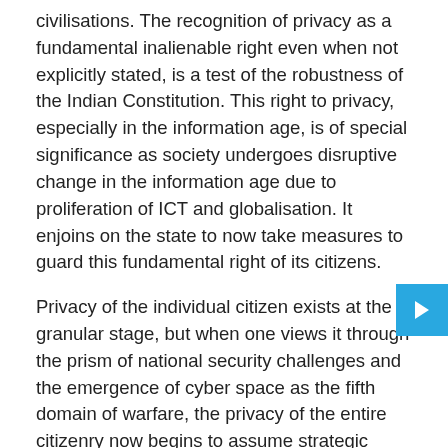civilisations. The recognition of privacy as a fundamental inalienable right even when not explicitly stated, is a test of the robustness of the Indian Constitution. This right to privacy, especially in the information age, is of special significance as society undergoes disruptive change in the information age due to proliferation of ICT and globalisation. It enjoins on the state to now take measures to guard this fundamental right of its citizens.
Privacy of the individual citizen exists at the granular stage, but when one views it through the prism of national security challenges and the emergence of cyber space as the fifth domain of warfare, the privacy of the entire citizenry now begins to assume strategic significance. In the Information Age, the privacy of the individual is, to a large extant, dependent on the privacy and security of the data generated by the individual in his daily activities. These arguably has largely been ignored by the Indian state, due to a variety reasons. The privacy judgement now allows the citizen to question the state on its various actions and inactions to uphold these inalienable rights. The logical fallout of the judgement has to be data localisation, ensuring that EULA's of all services and